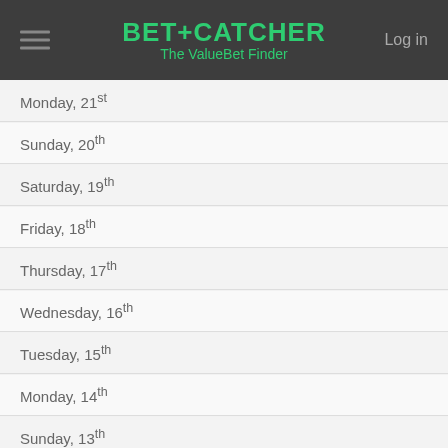BET+CATCHER The ValueBet Finder | Log in
Monday, 21st
Sunday, 20th
Saturday, 19th
Friday, 18th
Thursday, 17th
Wednesday, 16th
Tuesday, 15th
Monday, 14th
Sunday, 13th
Saturday, 12th
Friday, 11th
Thursday, 10th